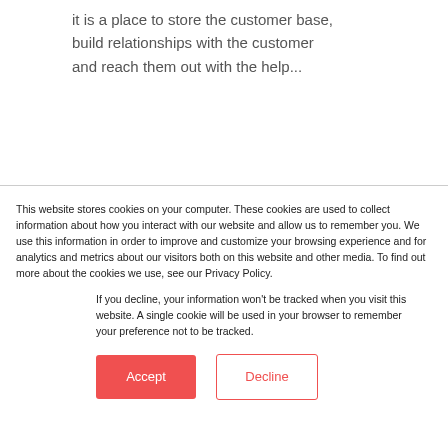it is a place to store the customer base, build relationships with the customer and reach them out with the help...
This website stores cookies on your computer. These cookies are used to collect information about how you interact with our website and allow us to remember you. We use this information in order to improve and customize your browsing experience and for analytics and metrics about our visitors both on this website and other media. To find out more about the cookies we use, see our Privacy Policy.
If you decline, your information won't be tracked when you visit this website. A single cookie will be used in your browser to remember your preference not to be tracked.